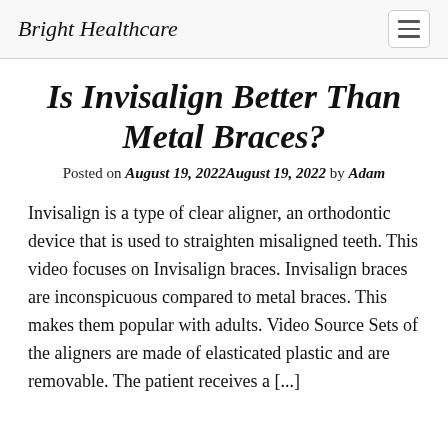Bright Healthcare
Is Invisalign Better Than Metal Braces?
Posted on August 19, 2022August 19, 2022 by Adam
Invisalign is a type of clear aligner, an orthodontic device that is used to straighten misaligned teeth. This video focuses on Invisalign braces. Invisalign braces are inconspicuous compared to metal braces. This makes them popular with adults. Video Source Sets of the aligners are made of elasticated plastic and are removable. The patient receives a [...]